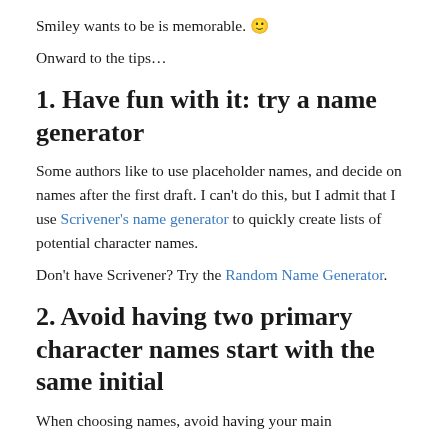Smiley wants to be is memorable. 🙂
Onward to the tips…
1. Have fun with it: try a name generator
Some authors like to use placeholder names, and decide on names after the first draft. I can't do this, but I admit that I use Scrivener's name generator to quickly create lists of potential character names.
Don't have Scrivener? Try the Random Name Generator.
2. Avoid having two primary character names start with the same initial
When choosing names, avoid having your main